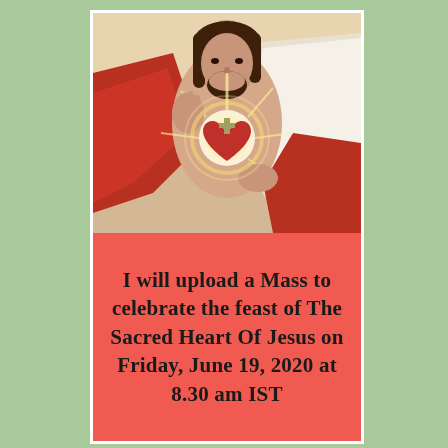[Figure (illustration): Painting of the Sacred Heart of Jesus — Jesus in red and white robes, right hand raised in blessing, left hand pointing to his glowing heart with a cross, radiating golden light]
I will upload a Mass to celebrate the feast of The Sacred Heart Of Jesus on Friday, June 19, 2020 at 8.30 am IST